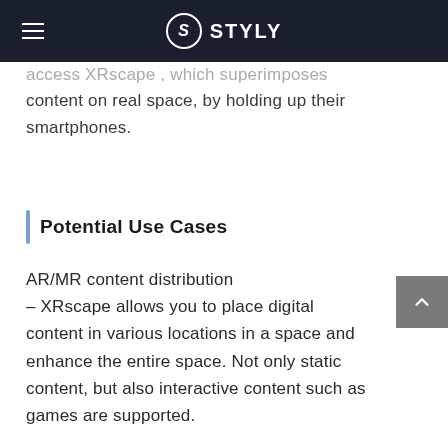STYLY
access XRscape , which superimposes content on real space, by holding up their smartphones.
Potential Use Cases
AR/MR content distribution
– XRscape allows you to place digital content in various locations in a space and enhance the entire space. Not only static content, but also interactive content such as games are supported.
– XRscape is a one-stop shop for everything